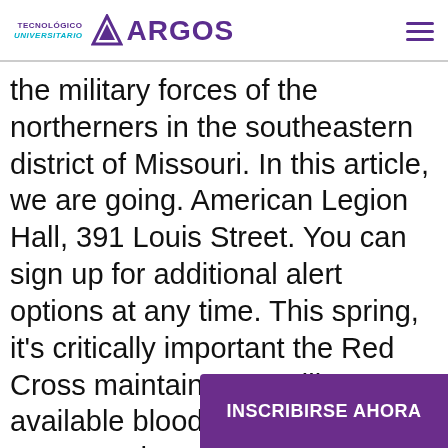TECNOLÓGICO UNIVERSITARIO ARGOS
the military forces of the northerners in the southeastern district of Missouri. In this article, we are going. American Legion Hall, 391 Louis Street. You can sign up for additional alert options at any time. This spring, it's critically important the Red Cross maintains a readily available blood supp[ly for patients] who rely on transfus[ions]